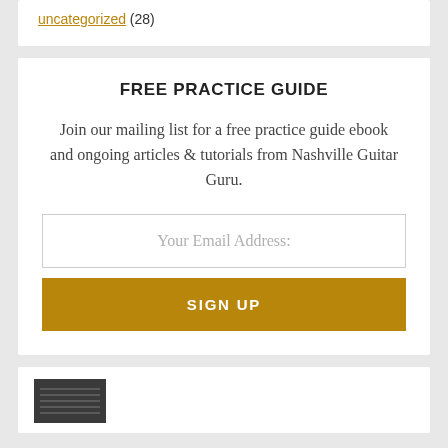uncategorized (28)
FREE PRACTICE GUIDE
Join our mailing list for a free practice guide ebook and ongoing articles & tutorials from Nashville Guitar Guru.
Your Email Address:
SIGN UP
[Figure (screenshot): Thumbnail image at bottom of page, dark background with horizontal lines suggesting guitar content]